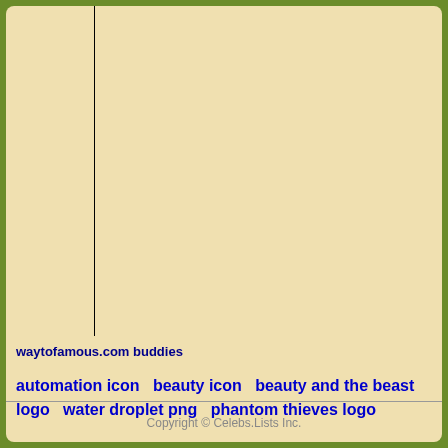[Figure (other): Vertical black line dividing left column area from main content area]
waytofamous.com buddies
automation icon   beauty icon   beauty and the beast logo   water droplet png   phantom thieves logo
Copyright © Celebs.Lists Inc.